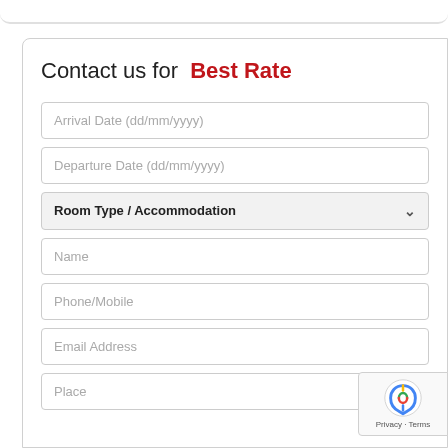Contact us for  Best Rate
Arrival Date (dd/mm/yyyy)
Departure Date (dd/mm/yyyy)
Room Type / Accommodation
Name
Phone/Mobile
Email Address
Place
Privacy · Terms